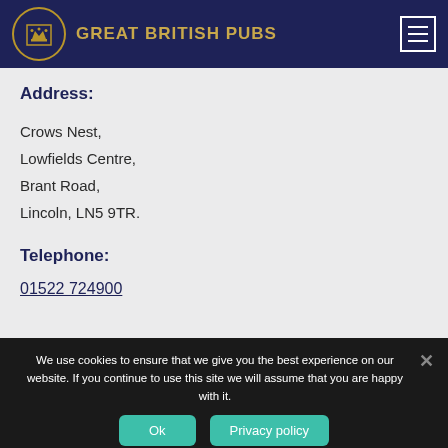GREAT BRITISH PUBS
Address:
Crows Nest,
Lowfields Centre,
Brant Road,
Lincoln, LN5 9TR.
Telephone:
01522 724900
We use cookies to ensure that we give you the best experience on our website. If you continue to use this site we will assume that you are happy with it.